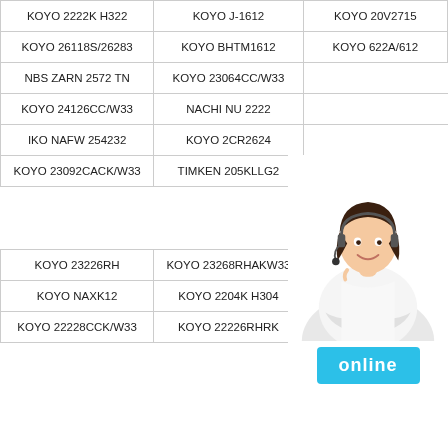| KOYO 2222K H322 | KOYO J-1612 | KOYO 20V2715 |
| KOYO 26118S/26283 | KOYO BHTM1612 | KOYO 622A/612 |
| NBS ZARN 2572 TN | KOYO 23064CC/W33 | KOYO [cut] |
| KOYO 24126CC/W33 | NACHI NU 2222 | TIM[cut] |
| IKO NAFW 254232 | KOYO 2CR2624 | K[cut] |
| KOYO 23092CACK/W33 | TIMKEN 205KLLG2 |  |
|  |  | 240[cut] |
| KOYO 23226RH | KOYO 23268RHAKW33 | KOYO 25R3525 |
| KOYO NAXK12 | KOYO 2204K H304 | KOYO 29428 |
| KOYO 22228CCK/W33 | KOYO 22226RHRK | KOYO 22215CCK/W33 |
[Figure (photo): Customer service representative woman with headset, smiling, wearing white blouse, arms crossed, with online chat button overlay]